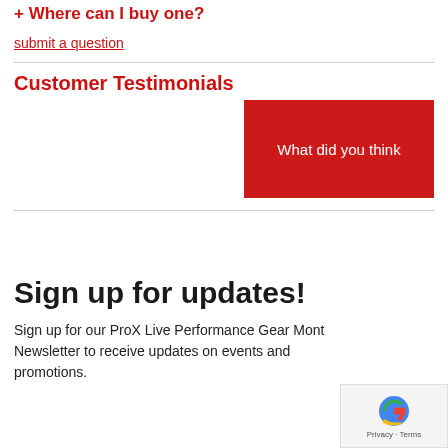+ Where can I buy one?
submit a question
Customer Testimonials
[Figure (other): Red button labeled 'What did you think']
Sign up for updates!
Sign up for our ProX Live Performance Gear Monthly Newsletter to receive updates on events and promotions.